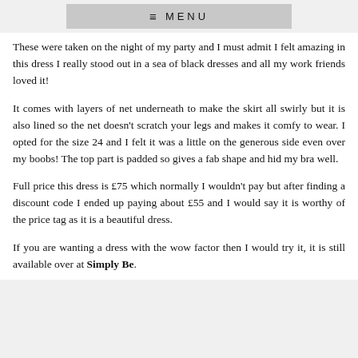≡ MENU
These were taken on the night of my party and I must admit I felt amazing in this dress I really stood out in a sea of black dresses and all my work friends loved it!
It comes with layers of net underneath to make the skirt all swirly but it is also lined so the net doesn't scratch your legs and makes it comfy to wear. I opted for the size 24 and I felt it was a little on the generous side even over my boobs! The top part is padded so gives a fab shape and hid my bra well.
Full price this dress is £75 which normally I wouldn't pay but after finding a discount code I ended up paying about £55 and I would say it is worthy of the price tag as it is a beautiful dress.
If you are wanting a dress with the wow factor then I would try it, it is still available over at Simply Be.